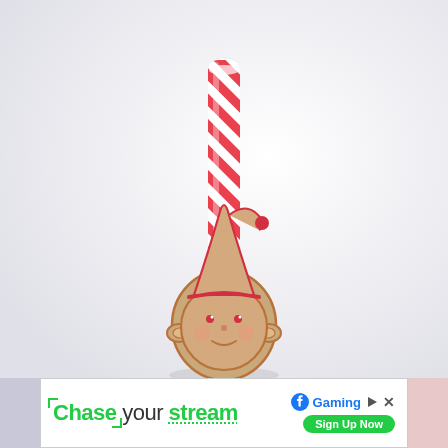[Figure (photo): A red and white candy-cane striped paper straw with a decorative cardboard elf face topper attached at the bottom. The elf face has a pointed Santa hat with a red pompom, simple dot eyes, and a round face with pointed ears, drawn in red outline on kraft/brown cardboard. The background is light grey-white.]
[Figure (other): Advertisement banner: 'Chase your stream' in green bold text with Facebook Gaming logo and 'Sign Up Now' green pill button, flanked by light purple and pink color strips on either side.]